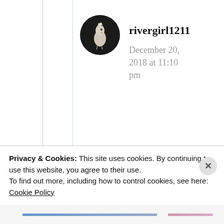[Figure (photo): Circular avatar image of a white bird (cockatoo or similar) on dark background]
rivergirl1211
December 20, 2018 at 11:10 pm
Yay you. First female blogger to be interviewed! I admit I didn't sit through the whole
Privacy & Cookies: This site uses cookies. By continuing to use this website, you agree to their use.
To find out more, including how to control cookies, see here:
Cookie Policy
Close and accept